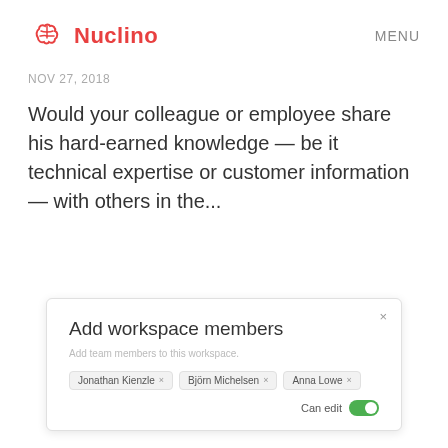Nuclino | MENU
NOV 27, 2018
Would your colleague or employee share his hard-earned knowledge — be it technical expertise or customer information — with others in the...
[Figure (screenshot): Dialog box titled 'Add workspace members' with subtitle 'Add team members to this workspace.' showing three name tags: Jonathan Kienzle x, Björn Michelsen x, Anna Lowe x, and a 'Can edit' toggle switch turned on (green).]